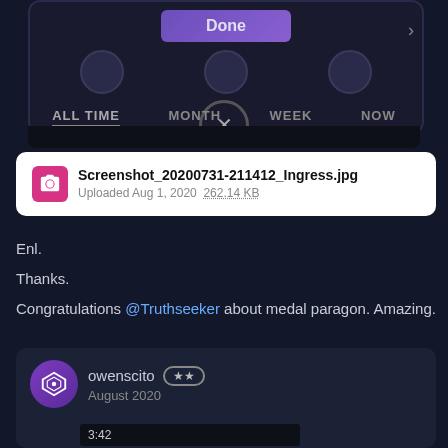[Figure (screenshot): Game UI screenshot showing a 'Done' button, circle buttons, close button, and time tabs: ALL TIME, MONTH, WEEK, NOW with a dark bar below]
[Figure (screenshot): File attachment card showing Screenshot_20200731-211412_Ingress.jpg, Uploaded Aug 1, 2020, 262.14 KB]
Enl.
Thanks.
Congratulations @Truthseeker about medal paragon. Amazing.
[Figure (screenshot): Comment card by owenscito (2-star badge), August 2020, with a mini screenshot at the bottom showing 3:42 time]